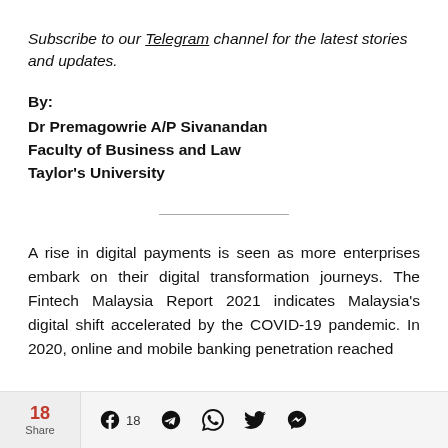Subscribe to our Telegram channel for the latest stories and updates.
By:
Dr Premagowrie A/P Sivanandan
Faculty of Business and Law
Taylor's University
A rise in digital payments is seen as more enterprises embark on their digital transformation journeys. The Fintech Malaysia Report 2021 indicates Malaysia's digital shift accelerated by the COVID-19 pandemic. In 2020, online and mobile banking penetration reached
18 Share | 18 [Facebook] [Telegram] [WhatsApp] [Twitter] [Messenger]